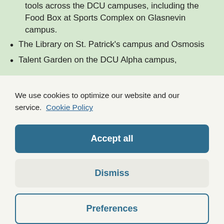tools across the DCU campuses, including the Food Box at Sports Complex on Glasnevin campus.
The Library on St. Patrick's campus and Osmosis
Talent Garden on the DCU Alpha campus,
We use cookies to optimize our website and our service. Cookie Policy
Accept all
Dismiss
Preferences
charge of €1 – a deposit for the cup. In addition